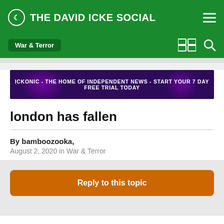THE DAVID ICKE SOCIAL
War & Terror
[Figure (other): ICKONIC - THE HOME OF INDEPENDENT NEWS - START YOUR 7 DAY FREE TRIAL TODAY banner advertisement on dark purple background]
london has fallen
By bamboozooka,
August 2, 2020 in War & Terror
Reply to this topic
« PREV   Page 3 of 4   NEXT »